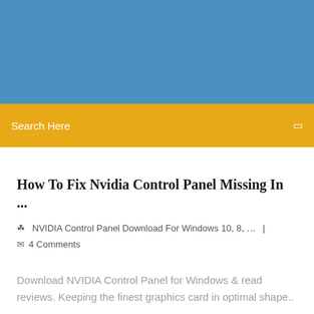[Figure (other): Blue header banner background]
Search Here
How To Fix Nvidia Control Panel Missing In ...
NVIDIA Control Panel Download For Windows 10, 8, ...  |  4 Comments
Download NVIDIA Control Panel for Windows & read reviews. Keeping the finest graphics card in optimal shape..